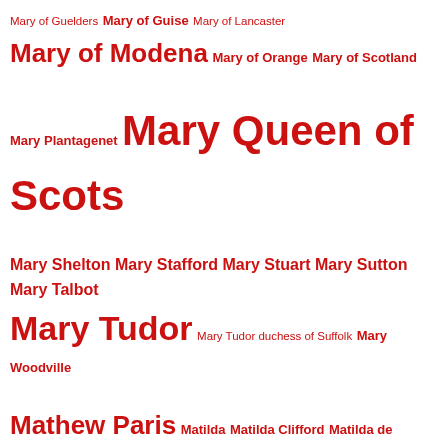Mary of Guelders Mary of Guise Mary of Lancaster Mary of Modena Mary of Orange Mary of Scotland Mary Plantagenet Mary Queen of Scots Mary Shelton Mary Stafford Mary Stuart Mary Sutton Mary Talbot Mary Tudor Mary Tudor duchess of Suffolk Mary Woodville Mathew Paris Matilda Matilda Clifford Matilda de Braose matilda de Burgh Matilda Fitzwalter Matilda Marshal Matilda of Flanders Matilda of Normandy Matilda of Scotland Matlock matthew Craddock Matthew I of Flanders Matthew Paris Matthew Shore Matthew Stewart earl of Lennox Matthew Stuart matula Maud Clifford Maud de Bohun Maud de Burgh Maud de Clare Maud de Lucy Maud de Ufford Maud de Zouche Maude Parr Maud Green Maud Herbert Maud Longford Maud Marshal Maud Stanhope Maxstowe Castle may mead hall medallion medical history medieval agricultural year medieval alabaster tomb medieval battles medieval bestiary medieval calendar